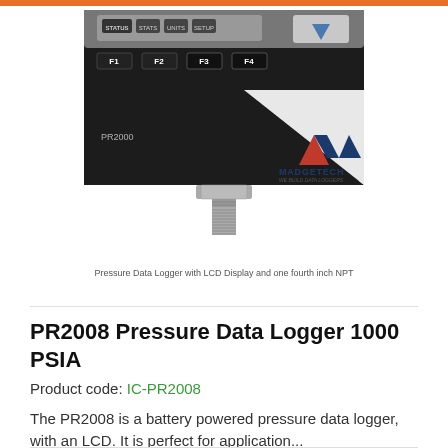[Figure (photo): MadgeTech PR2000 pressure data logger device with LCD display showing STATUS, STATS, UNITS, SETUP tabs, F1-F4 function buttons, MadgeTech logo, and a 1/4 inch NPT threaded fitting at the bottom.]
Pressure Data Logger with LCD Display and one fourth inch NPT
PR2008 Pressure Data Logger 1000 PSIA
Product code: IC-PR2008
The PR2008 is a battery powered pressure data logger, with an LCD. It is perfect for application...